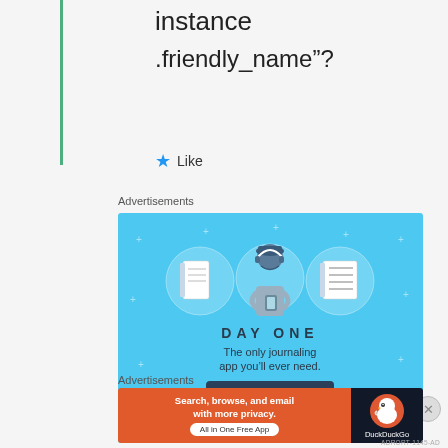instance
.friendly_name"?
★ Like
Advertisements
[Figure (illustration): Day One journaling app advertisement with blue background, person holding phone flanked by notebook icons, text 'DAY ONE The only journaling app you'll ever need.' and 'Get the app' button]
Advertisements
[Figure (illustration): DuckDuckGo advertisement: orange left panel 'Search, browse, and email with more privacy. All in One Free App', dark right panel with DuckDuckGo duck logo]
ADRORT-1145-AD